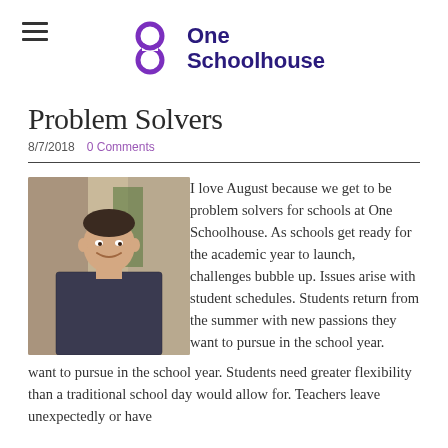One Schoolhouse
Problem Solvers
8/7/2018   0 Comments
[Figure (photo): Headshot of a man in a dark plaid shirt smiling, standing in an office or school hallway environment]
I love August because we get to be problem solvers for schools at One Schoolhouse.  As schools get ready for the academic year to launch, challenges bubble up. Issues arise with student schedules. Students return from the summer with new passions they want to pursue in the school year. Students need greater flexibility than a traditional school day would allow for. Teachers leave unexpectedly or have